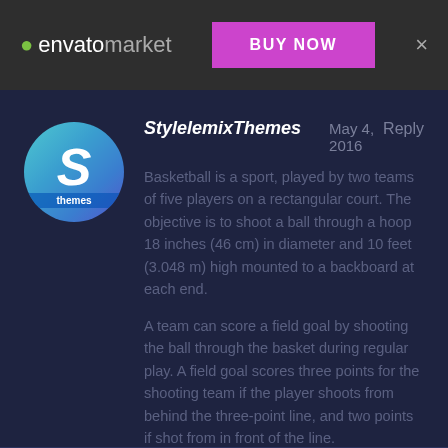envato market | BUY NOW | ×
StylelemixThemes   May 4, 2016   Reply
Basketball is a sport, played by two teams of five players on a rectangular court. The objective is to shoot a ball through a hoop 18 inches (46 cm) in diameter and 10 feet (3.048 m) high mounted to a backboard at each end.
A team can score a field goal by shooting the ball through the basket during regular play. A field goal scores three points for the shooting team if the player shoots from behind the three-point line, and two points if shot from in front of the line.